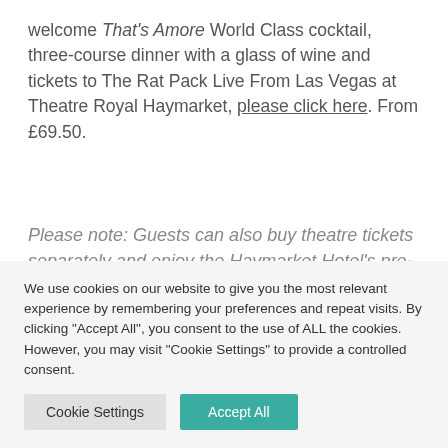welcome That's Amore World Class cocktail, three-course dinner with a glass of wine and tickets to The Rat Pack Live From Las Vegas at Theatre Royal Haymarket, please click here. From £69.50.
Please note: Guests can also buy theatre tickets separately and enjoy the Haymarket Hotel's pre-theatre menu at £19.95 for three courses.
Click here to visit Haymarket Hotel's website
We use cookies on our website to give you the most relevant experience by remembering your preferences and repeat visits. By clicking "Accept All", you consent to the use of ALL the cookies. However, you may visit "Cookie Settings" to provide a controlled consent.